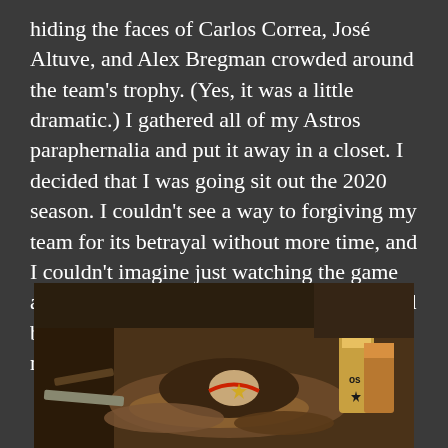hiding the faces of Carlos Correa, José Altuve, and Alex Bregman crowded around the team's trophy. (Yes, it was a little dramatic.) I gathered all of my Astros paraphernalia and put it away in a closet. I decided that I was going sit out the 2020 season. I couldn't see a way to forgiving my team for its betrayal without more time, and I couldn't imagine just watching the game as usual. But I didn't think then that I would be bringing everyone else along with me in not watching.
[Figure (photo): A photo of Houston Astros memorabilia and merchandise laid out on a dark table, including caps and other items, with beverage containers visible in the background.]